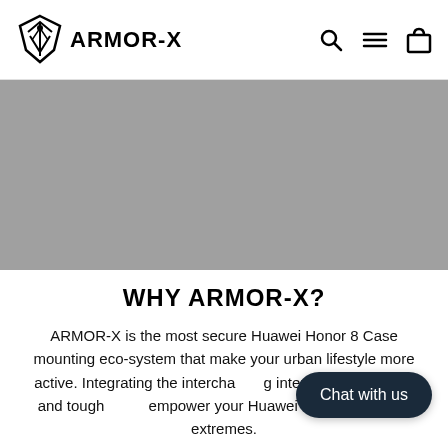ARMOR-X
[Figure (photo): Gray placeholder image area representing a product image for Huawei Honor 8 Case]
WHY ARMOR-X?
ARMOR-X is the most secure Huawei Honor 8 Case mounting eco-system that make your urban lifestyle more active. Integrating the interchangeable mounting interface into a sleek and tough case design to empower your Huawei Honor 8 Case in extremes.